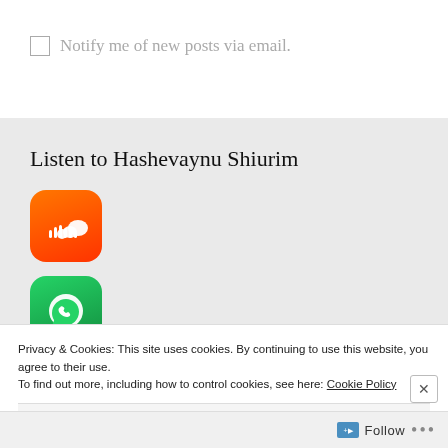Notify me of new posts via email.
Listen to Hashevaynu Shiurim
[Figure (logo): SoundCloud app icon — rounded square with orange-red gradient and white cloud/waveform logo]
[Figure (logo): WhatsApp app icon — rounded square with green gradient and white phone/speech bubble logo]
Privacy & Cookies: This site uses cookies. By continuing to use this website, you agree to their use. To find out more, including how to control cookies, see here: Cookie Policy
Close and accept